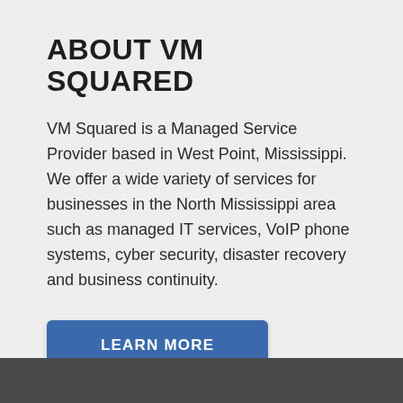ABOUT VM SQUARED
VM Squared is a Managed Service Provider based in West Point, Mississippi. We offer a wide variety of services for businesses in the North Mississippi area such as managed IT services, VoIP phone systems, cyber security, disaster recovery and business continuity.
LEARN MORE